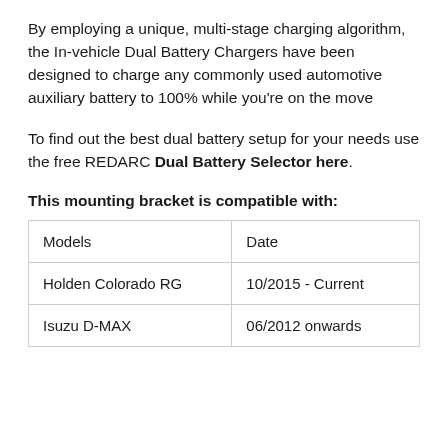By employing a unique, multi-stage charging algorithm, the In-vehicle Dual Battery Chargers have been designed to charge any commonly used automotive auxiliary battery to 100% while you're on the move
To find out the best dual battery setup for your needs use the free REDARC Dual Battery Selector here.
This mounting bracket is compatible with:
| Models | Date |
| --- | --- |
| Holden Colorado RG | 10/2015 - Current |
| Isuzu D-MAX | 06/2012 onwards |